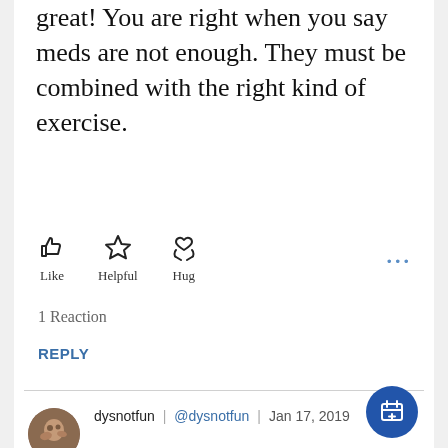great! You are right when you say meds are not enough. They must be combined with the right kind of exercise.
[Figure (infographic): Social reaction buttons: Like (thumbs up icon), Helpful (star icon), Hug (heart-in-hands icon), and a three-dot more menu]
1 Reaction
REPLY
dysnotfun | @dysnotfun | Jan 17, 2019
For over a year now I have had a hot stabbing feeling just left of my spine in my upper left buutck area. It has interrupted my complete life style. I have